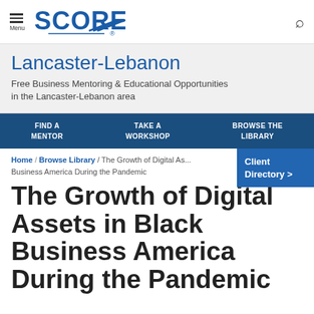Menu | SCORE | Search
Lancaster-Lebanon
Free Business Mentoring & Educational Opportunities in the Lancaster-Lebanon area
FIND A MENTOR
TAKE A WORKSHOP
BROWSE THE LIBRARY
Home / Browse Library / The Growth of Digital As... Business America During the Pandemic
Client Directory >
The Growth of Digital Assets in Black Business America During the Pandemic